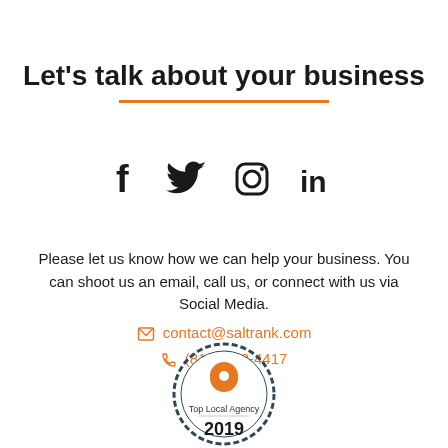Let's talk about your business
[Figure (infographic): Social media icons: Facebook, Twitter, Instagram, LinkedIn]
Please let us know how we can help your business. You can shoot us an email, call us, or connect with us via Social Media.
contact@saltrank.com
(816) 533-4417
[Figure (logo): Top Local Agency 2019 badge with location pin icon inside a circular seal]